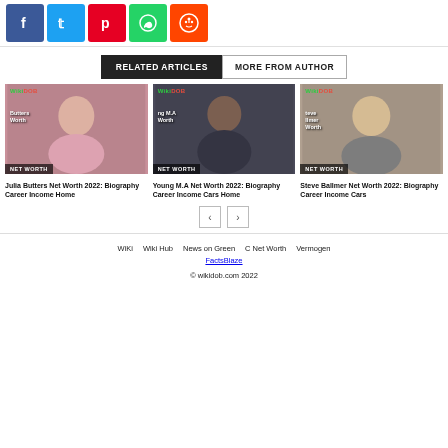[Figure (infographic): Social share buttons: Facebook (blue), Twitter (cyan), Pinterest (red), WhatsApp (green), Reddit (orange-red)]
RELATED ARTICLES   MORE FROM AUTHOR
[Figure (photo): Julia Butters photo with WikiDOB watermark, NET WORTH badge]
Julia Butters Net Worth 2022: Biography Career Income Home
[Figure (photo): Young M.A photo with WikiDOB watermark, NET WORTH badge]
Young M.A Net Worth 2022: Biography Career Income Cars Home
[Figure (photo): Steve Ballmer photo with WikiDOB watermark, NET WORTH badge]
Steve Ballmer Net Worth 2022: Biography Career Income Cars
WiKi   Wiki Hub   News on Green   C Net Worth   Vermogen   FactsBlaze
© wikidob.com 2022